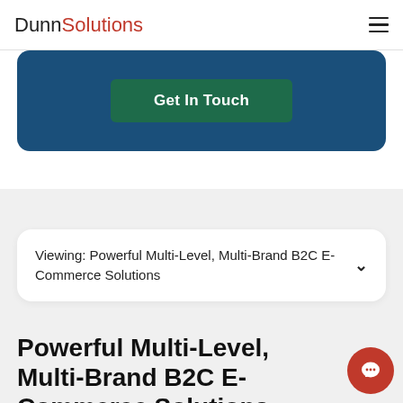DunnSolutions
[Figure (other): Blue rounded rectangle CTA banner with green 'Get In Touch' button]
Viewing: Powerful Multi-Level, Multi-Brand B2C E-Commerce Solutions
Powerful Multi-Level, Multi-Brand B2C E-Commerce Solutions